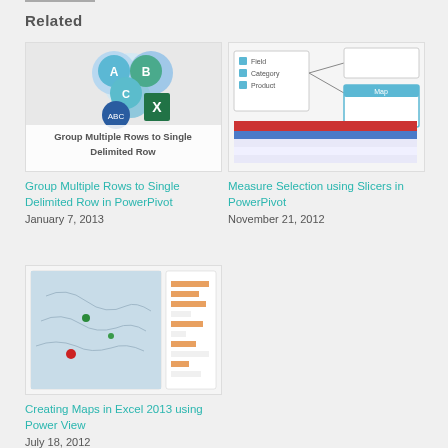Related
[Figure (screenshot): Thumbnail showing Group Multiple Rows to Single Delimited Row in PowerPivot with colored circles and icons]
Group Multiple Rows to Single Delimited Row in PowerPivot
January 7, 2013
[Figure (screenshot): Thumbnail showing Measure Selection using Slicers in PowerPivot with table and panel UI]
Measure Selection using Slicers in PowerPivot
November 21, 2012
[Figure (screenshot): Thumbnail showing Creating Maps in Excel 2013 using Power View with map and data panel]
Creating Maps in Excel 2013 using Power View
July 18, 2012